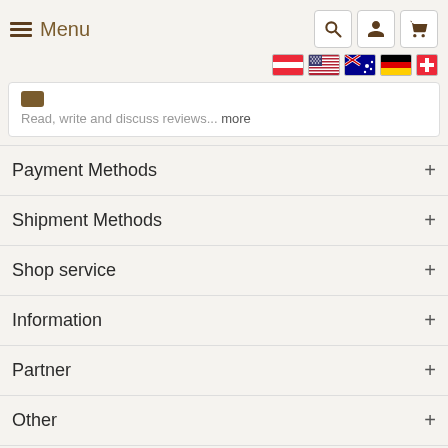Menu
Read, write and discuss reviews... more
Payment Methods +
Shipment Methods +
Shop service +
Information +
Partner +
Other +
+